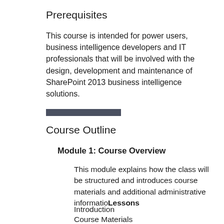Prerequisites
This course is intended for power users, business intelligence developers and IT professionals that will be involved with the design, development and maintenance of SharePoint 2013 business intelligence solutions.
Course Outline
Module 1: Course Overview
This module explains how the class will be structured and introduces course materials and additional administrative informationLessons
Introduction
Course Materials